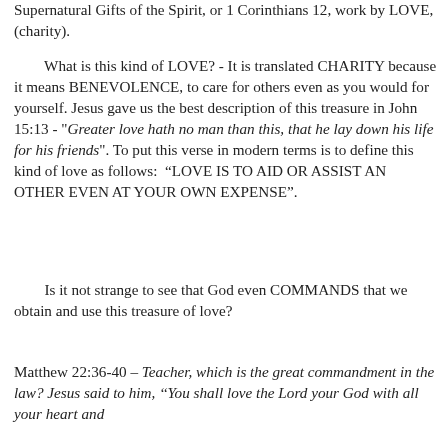Supernatural Gifts of the Spirit, or 1 Corinthians 12, work by LOVE, (charity).
What is this kind of LOVE? - It is translated CHARITY because it means BENEVOLENCE, to care for others even as you would for yourself. Jesus gave us the best description of this treasure in John 15:13 - "Greater love hath no man than this, that he lay down his life for his friends". To put this verse in modern terms is to define this kind of love as follows:  “LOVE IS TO AID OR ASSIST AN OTHER EVEN AT YOUR OWN EXPENSE”.
Is it not strange to see that God even COMMANDS that we obtain and use this treasure of love?
Matthew 22:36-40 – Teacher, which is the great commandment in the law? Jesus said to him, ‘‘You shall love the Lord your God with all your heart and